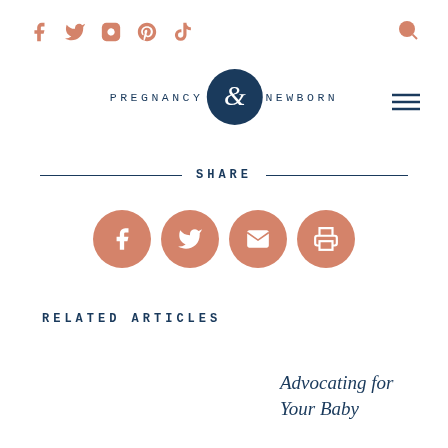f  twitter  instagram  pinterest  tiktok  [search]
[Figure (logo): Pregnancy & Newborn magazine logo with circular emblem in navy blue, text PREGNANCY and NEWBORN flanking the circle]
SHARE
[Figure (infographic): Four circular salmon/terracotta colored share buttons: Facebook, Twitter, Email, Print]
RELATED ARTICLES
Advocating for Your Baby